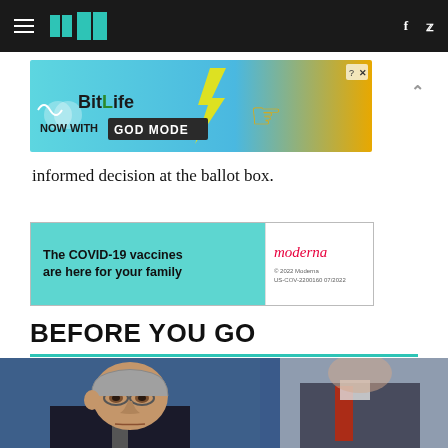HuffPost navigation bar with hamburger menu, logo, Facebook and Twitter icons
[Figure (other): BitLife advertisement banner: NOW WITH GOD MODE with pointing hand graphic]
informed decision at the ballot box.
[Figure (other): Moderna advertisement: The COVID-19 vaccines are here for your family. © 2022 Moderna US-COV-2200160 07/2022]
BEFORE YOU GO
[Figure (photo): Photo of Joe Arpaio in foreground in focus, with blurred figure in suit with red tie in background (Trump)]